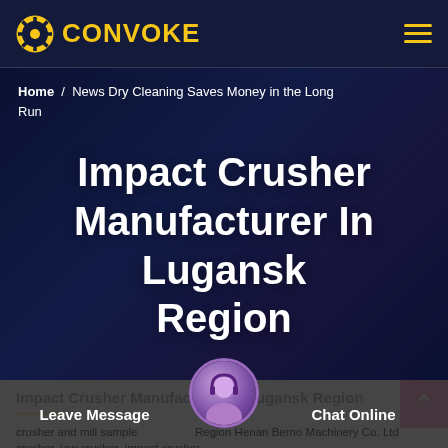[Figure (logo): CONVOKE logo with film reel icon in yellow/gold color on dark navy background]
Home / News Dry Cleaning Saves Money in the Long Run
Impact Crusher Manufacturer In Lugansk Region
Impact Crusher Manufacturer In Lugansk Region
crusher and mill sample Region Henan Berno Machinery Co. Ltd crusher, jaw crusher, impact crusher